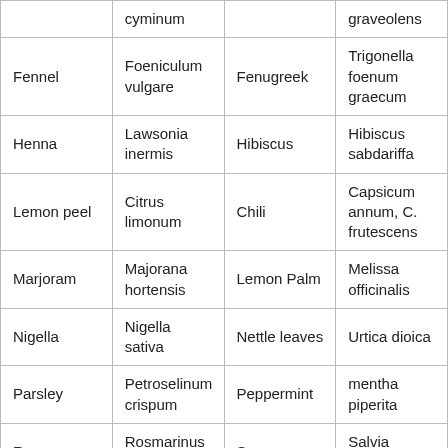|  | cyminum |  | graveolens |
| Fennel | Foeniculum vulgare | Fenugreek | Trigonella foenum graecum |
| Henna | Lawsonia inermis | Hibiscus | Hibiscus sabdariffa |
| Lemon peel | Citrus limonum | Chili | Capsicum annum, C. frutescens |
| Marjoram | Majorana hortensis | Lemon Palm | Melissa officinalis |
| Nigella | Nigella sativa | Nettle leaves | Urtica dioica |
| Parsley | Petroselinum crispum | Peppermint | mentha piperita |
| Rosemary | Rosmarinus officinalis | Sage | Salvia officinalis |
|  |  |  |  |